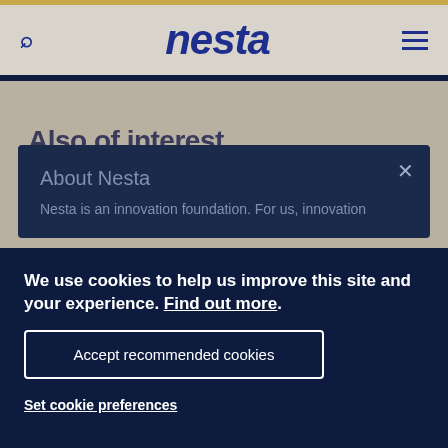nesta
Also of interest
About Nesta
Nesta is an innovation foundation. For us, innovation
We use cookies to help us improve this site and your experience. Find out more.
Accept recommended cookies
Set cookie preferences